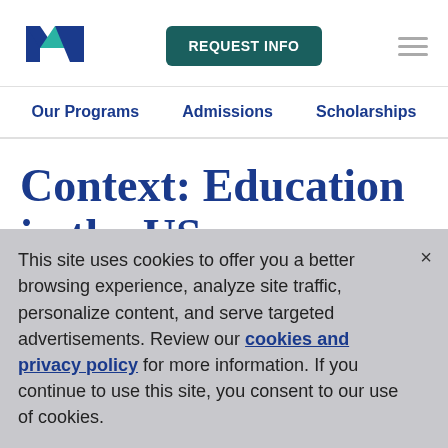[Figure (logo): University logo with stylized 'W' or 'N' letter in dark blue and teal/green colors]
REQUEST INFO
Our Programs  Admissions  Scholarships
Context: Education in the US
This site uses cookies to offer you a better browsing experience, analyze site traffic, personalize content, and serve targeted advertisements. Review our cookies and privacy policy for more information. If you continue to use this site, you consent to our use of cookies.